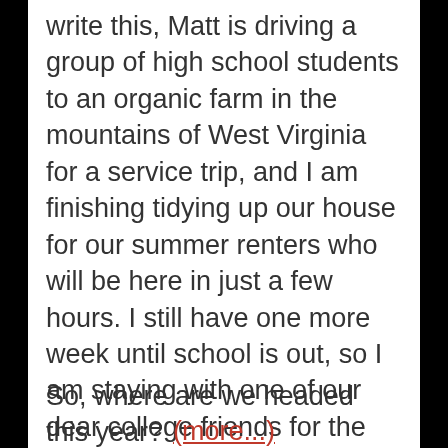write this, Matt is driving a group of high school students to an organic farm in the mountains of West Virginia for a service trip, and I am finishing tidying up our house for our summer renters who will be here in just a few hours. I still have one more week until school is out, so I am staying with one of our dear college friends for the next week. And then we are free!
So, where are we headed this year?
(more...)